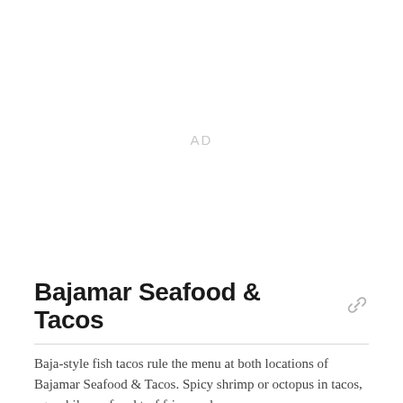[Figure (other): Advertisement placeholder area with 'AD' label centered in a large white space]
Bajamar Seafood & Tacos
Baja-style fish tacos rule the menu at both locations of Bajamar Seafood & Tacos. Spicy shrimp or octopus in tacos, aguachile, surf and turf fries, and